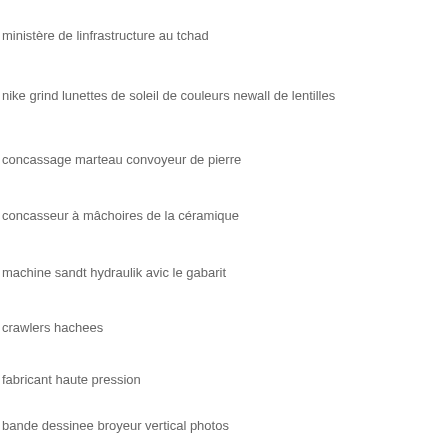ministère de linfrastructure au tchad
nike grind lunettes de soleil de couleurs newall de lentilles
concassage marteau convoyeur de pierre
concasseur à mâchoires de la céramique
machine sandt hydraulik avic le gabarit
crawlers hachees
fabricant haute pression
bande dessinee broyeur vertical photos